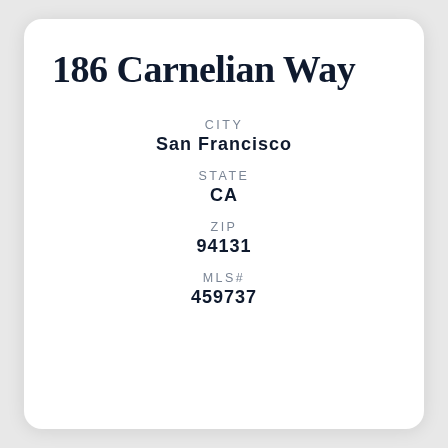186 Carnelian Way
CITY
San Francisco
STATE
CA
ZIP
94131
MLS#
459737